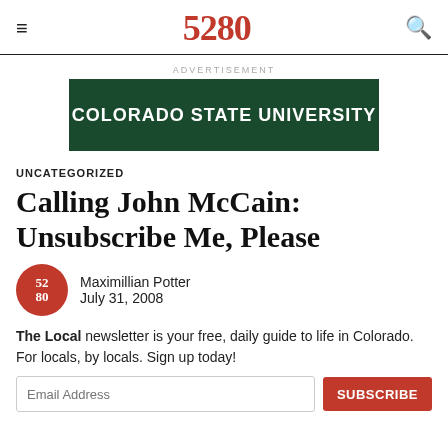5280
ADVERTISEMENT
[Figure (other): Colorado State University advertisement banner, dark green background with white bold text reading COLORADO STATE UNIVERSITY]
UNCATEGORIZED
Calling John McCain: Unsubscribe Me, Please
Maximillian Potter
July 31, 2008
The Local newsletter is your free, daily guide to life in Colorado. For locals, by locals. Sign up today!